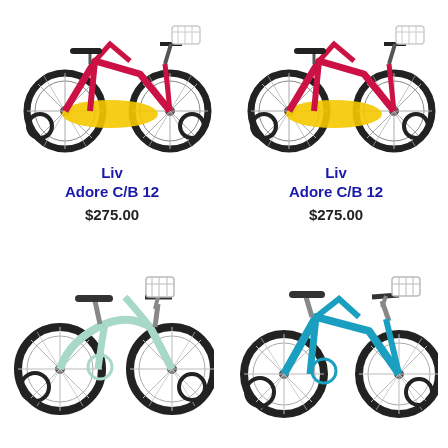[Figure (photo): Red and yellow children's bicycle (Liv Adore C/B 12) with training wheels and white basket, facing right]
[Figure (photo): Red and yellow children's bicycle (Liv Adore C/B 12) with training wheels and white basket, facing right]
Liv
Adore C/B 12
$275.00
Liv
Adore C/B 12
$275.00
[Figure (photo): Light teal/mint children's bicycle (Liv) with training wheels and white basket, facing right]
[Figure (photo): Bright blue children's bicycle (Liv) with training wheels and white basket, facing right]